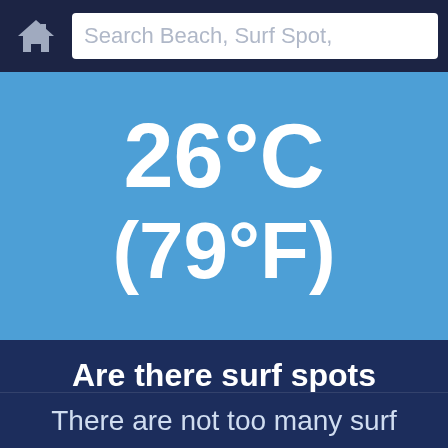[Figure (screenshot): Mobile app navigation bar with a home icon and a search bar reading 'Search Beach, Surf Spot,']
26°C
(79°F)
Are there surf spots close by?
There are not too many surf